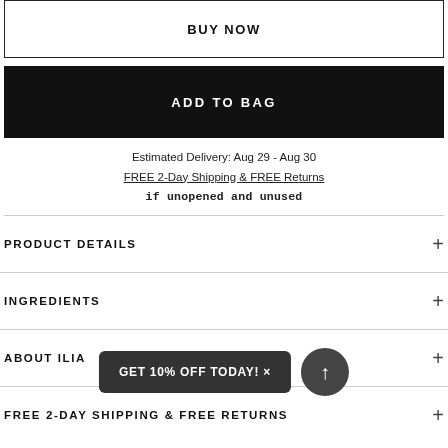BUY NOW
ADD TO BAG
Estimated Delivery: Aug 29 - Aug 30
FREE 2-Day Shipping & FREE Returns
if unopened and unused
PRODUCT DETAILS
INGREDIENTS
ABOUT ILIA
FREE 2-DAY SHIPPING & FREE RETURNS
GET 10% OFF TODAY! ×